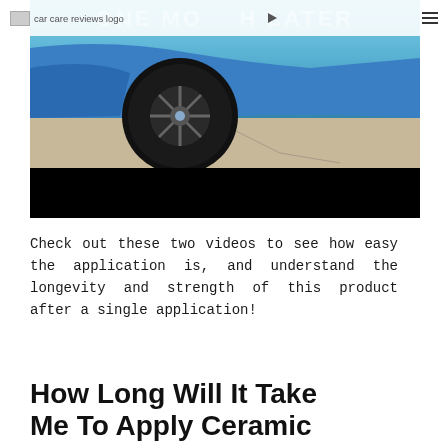car care reviews logo | ONE MO TH LATER
[Figure (photo): Close-up photo of a blue BMW car wheel and front bumper on a cracked concrete surface, with a black bar at the bottom of the image and 'ONE MONTH LATER' text overlay at the top.]
Check out these two videos to see how easy the application is, and understand the longevity and strength of this product after a single application!
How Long Will It Take Me To Apply Ceramic...